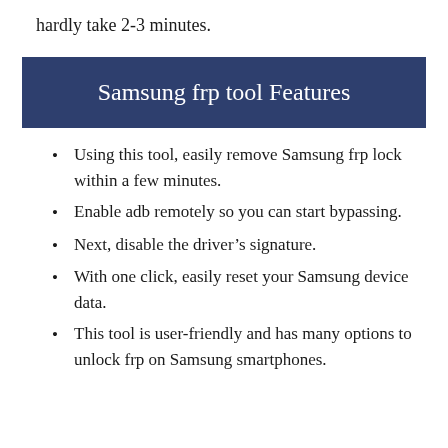hardly take 2-3 minutes.
Samsung frp tool Features
Using this tool, easily remove Samsung frp lock within a few minutes.
Enable adb remotely so you can start bypassing.
Next, disable the driver's signature.
With one click, easily reset your Samsung device data.
This tool is user-friendly and has many options to unlock frp on Samsung smartphones.